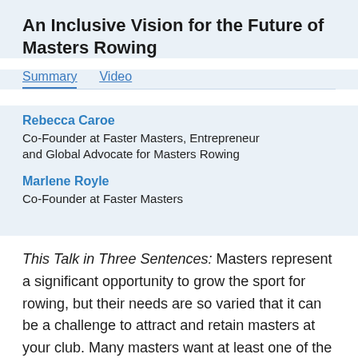An Inclusive Vision for the Future of Masters Rowing
Summary   Video
Rebecca Caroe
Co-Founder at Faster Masters, Entrepreneur and Global Advocate for Masters Rowing
Marlene Royle
Co-Founder at Faster Masters
This Talk in Three Sentences: Masters represent a significant opportunity to grow the sport for rowing, but their needs are so varied that it can be a challenge to attract and retain masters at your club. Many masters want at least one of the